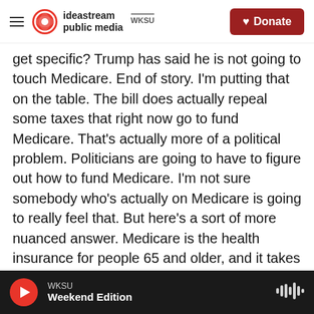ideastream public media | WKSU | Donate
get specific? Trump has said he is not going to touch Medicare. End of story. I'm putting that on the table. The bill does actually repeal some taxes that right now go to fund Medicare. That's actually more of a political problem. Politicians are going to have to figure out how to fund Medicare. I'm not sure somebody who's actually on Medicare is going to really feel that. But here's a sort of more nuanced answer. Medicare is the health insurance for people 65 and older, and it takes care of routine medical care. It will also take care if you need to go to the emergency room. You break a hip or something, you need to be hospitalized for a bit,
WKSU | Weekend Edition